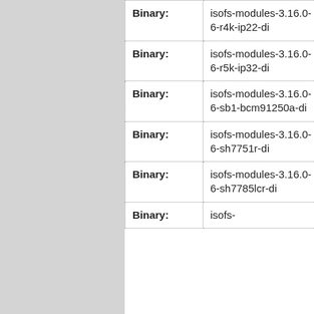| Type | Package | Status |
| --- | --- | --- |
| Binary: | isofs-modules-3.16.0-6-r4k-ip22-di | unl |
| Binary: | isofs-modules-3.16.0-6-r5k-ip32-di | unl |
| Binary: | isofs-modules-3.16.0-6-sb1-bcm91250a-di | unl |
| Binary: | isofs-modules-3.16.0-6-sh7751r-di | unl |
| Binary: | isofs-modules-3.16.0-6-sh7785lcr-di | unl |
| Binary: | isofs-... | unl |